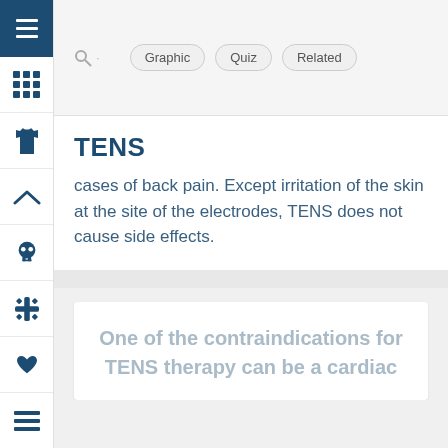Graphic   Quiz   Related
TENS
cases of back pain. Except irritation of the skin at the site of the electrodes, TENS does not cause side effects.
One of the contraindications for TENS therapy can be a cardiac